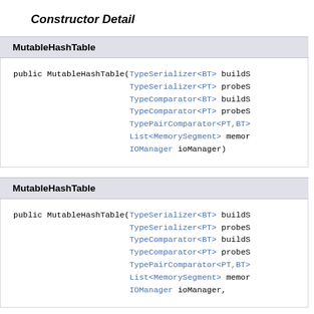Constructor Detail
MutableHashTable
public MutableHashTable(TypeSerializer<BT> buildS
                        TypeSerializer<PT> probeS
                        TypeComparator<BT> buildS
                        TypeComparator<PT> probeS
                        TypePairComparator<PT,BT>
                        List<MemorySegment> memor
                        IOManager ioManager)
MutableHashTable
public MutableHashTable(TypeSerializer<BT> buildS
                        TypeSerializer<PT> probeS
                        TypeComparator<BT> buildS
                        TypeComparator<PT> probeS
                        TypePairComparator<PT,BT>
                        List<MemorySegment> memor
                        IOManager ioManager,